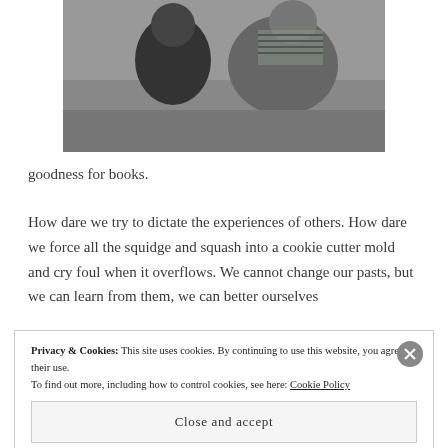[Figure (photo): Black and white photograph of two children sitting outdoors in grass, looking down at something]
goodness for books.
How dare we try to dictate the experiences of others. How dare we force all the squidge and squash into a cookie cutter mold and cry foul when it overflows. We cannot change our pasts, but we can learn from them, we can better ourselves
Privacy & Cookies: This site uses cookies. By continuing to use this website, you agree to their use.
To find out more, including how to control cookies, see here: Cookie Policy
Close and accept